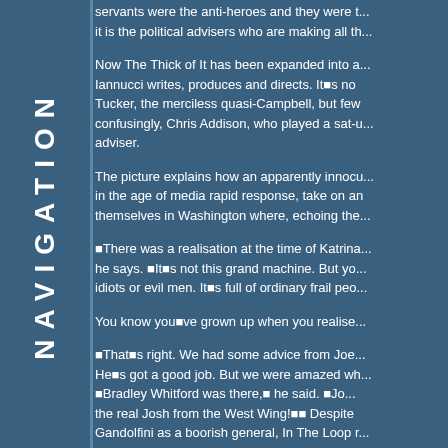servants were the anti-heroes and they were t... it is the political advisers who are making all th...
Now The Thick of It has been expanded into a... Iannucci writes, produces and directs. It■s no Tucker, the merciless quasi-Campbell, but few confusingly, Chris Addison, who played a sat-u... adviser.
The picture explains how an apparently innocu... in the age of media rapid response, take on an themselves in Washington where, echoing the...
■There was a realisation at the time of Katrina... he says. ■It■s not this grand machine. But yo... idiots or evil men. It■s full of ordinary frail peo...
You know you■ve grown up when you realise...
■That■s right. We had some advice from Joe... He■s got a good job. But we were amazed wh... ■Bradley Whitford was there,■ he said. ■Jo... the real Josh from the West Wing!■■ Despite Gandolfini as a boorish general, In The Loop r... unique. The camera continues to bounce abou...